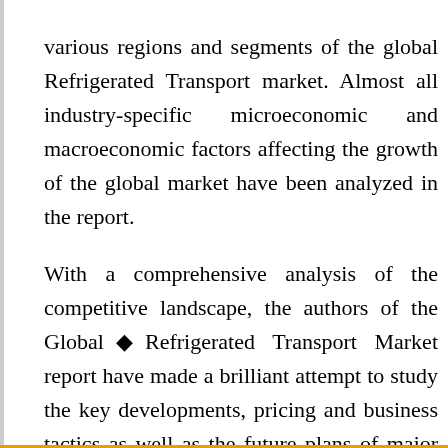various regions and segments of the global Refrigerated Transport market. Almost all industry-specific microeconomic and macroeconomic factors affecting the growth of the global market have been analyzed in the report.
With a comprehensive analysis of the competitive landscape, the authors of the Global◆Refrigerated Transport Market report have made a brilliant attempt to study the key developments, pricing and business tactics as well as the future plans of major companies. Along with the global Players Refrigerated Transport market performance in terms of revenue and revenue, analysts shed light on their production, areas served, gross margin and other important factors. Moreover, the